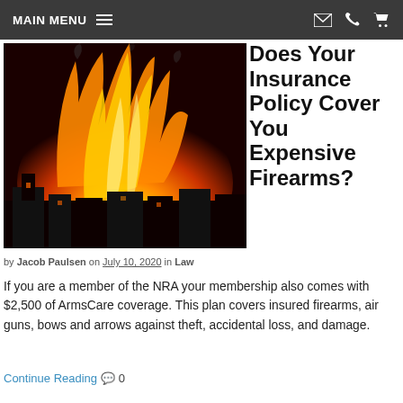MAIN MENU
[Figure (photo): Large fire engulfing a building at night, bright orange and yellow flames with silhouettes of structures visible]
Does Your Insurance Policy Cover You Expensive Firearms?
by Jacob Paulsen on July 10, 2020 in Law
If you are a member of the NRA your membership also comes with $2,500 of ArmsCare coverage. This plan covers insured firearms, air guns, bows and arrows against theft, accidental loss, and damage.
Continue Reading 💬 0